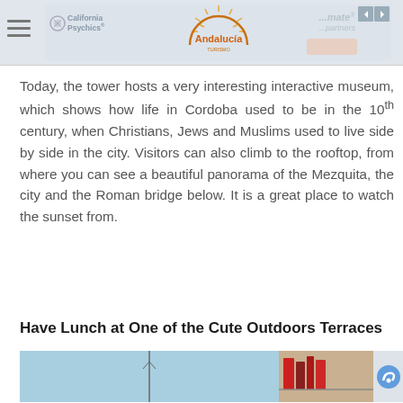[Figure (screenshot): Website page header with hamburger menu icon on left, California Psychics advertisement banner with Andalucia sun logo in center, navigation arrows top right]
Today, the tower hosts a very interesting interactive museum, which shows how life in Cordoba used to be in the 10th century, when Christians, Jews and Muslims used to live side by side in the city. Visitors can also climb to the rooftop, from where you can see a beautiful panorama of the Mezquita, the city and the Roman bridge below. It is a great place to watch the sunset from.
Have Lunch at One of the Cute Outdoors Terraces
[Figure (photo): Partial photo strip showing outdoor terrace area with light blue sky, a pole or antenna in center, and shelved items on right side, partially cut off]